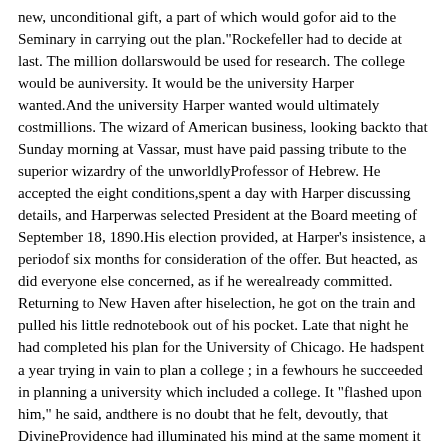new, unconditional gift, a part of which would gofor aid to the Seminary in carrying out the plan."Rockefeller had to decide at last. The million dollarswould be used for research. The college would be auniversity. It would be the university Harper wanted.And the university Harper wanted would ultimately costmillions. The wizard of American business, looking backto that Sunday morning at Vassar, must have paid passing tribute to the superior wizardry of the unworldlyProfessor of Hebrew. He accepted the eight conditions,spent a day with Harper discussing details, and Harperwas selected President at the Board meeting of September 18, 1890.His election provided, at Harper's insistence, a periodof six months for consideration of the offer. But heacted, as did everyone else concerned, as if he werealready committed. Returning to New Haven after hiselection, he got on the train and pulled his little rednotebook out of his pocket. Late that night he had completed his plan for the University of Chicago. He hadspent a year trying in vain to plan a college ; in a fewhours he succeeded in planning a university which included a college. It "flashed upon him," he said, andthere is no doubt that he felt, devoutly, that DivineProvidence had illuminated his mind at the same moment it had moved the heart of Rockefeller.Meanwhile, Gates and Goodspeed had raised the $400,-000 that secured the original pledge of $600,000. Gateshad moved to Morgan Park, and, with Goodspeed steering him around, he had emptied the Baptist pockets ofChicago. The campaign had been a bitter one, for